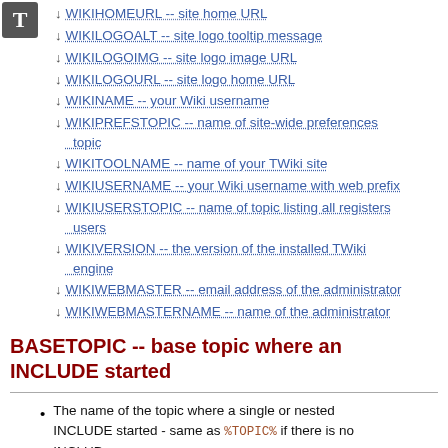WEBPREFSTOPIC -- name of web preferences topic
WIKIHOMEURL -- site home URL
WIKILOGOALT -- site logo tooltip message
WIKILOGOIMG -- site logo image URL
WIKILOGOURL -- site logo home URL
WIKINAME -- your Wiki username
WIKIPREFSTOPIC -- name of site-wide preferences topic
WIKITOOLNAME -- name of your TWiki site
WIKIUSERNAME -- your Wiki username with web prefix
WIKIUSERSTOPIC -- name of topic listing all registers users
WIKIVERSION -- the version of the installed TWiki engine
WIKIWEBMASTER -- email address of the administrator
WIKIWEBMASTERNAME -- name of the administrator
BASETOPIC -- base topic where an INCLUDE started
The name of the topic where a single or nested INCLUDE started - same as %TOPIC% if there is no INCLUDE